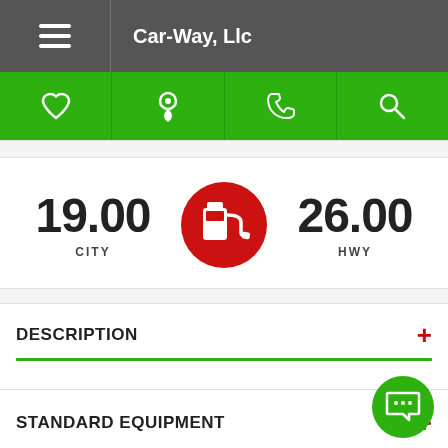Car-Way, Llc
[Figure (infographic): Green navigation bar with four icons: heart (favorite), location pin, phone, and search magnifying glass]
[Figure (infographic): Fuel economy display: 19.00 CITY on the left, red circular gas pump icon in the center, 26.00 HWY on the right]
DESCRIPTION
STANDARD EQUIPMENT